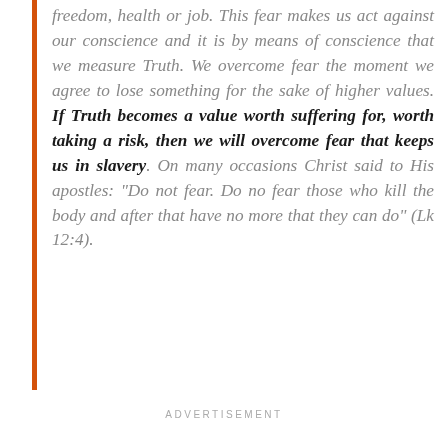freedom, health or job. This fear makes us act against our conscience and it is by means of conscience that we measure Truth. We overcome fear the moment we agree to lose something for the sake of higher values. If Truth becomes a value worth suffering for, worth taking a risk, then we will overcome fear that keeps us in slavery. On many occasions Christ said to His apostles: “Do not fear. Do no fear those who kill the body and after that have no more that they can do” (Lk 12:4).
ADVERTISEMENT